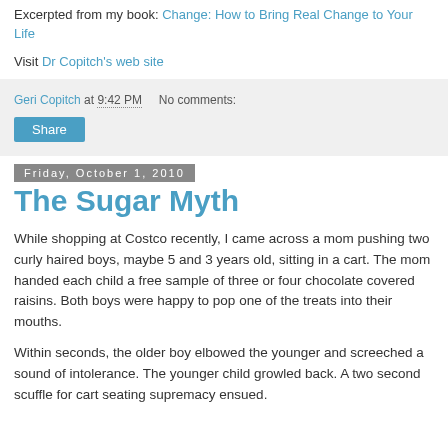Excerpted from my book: Change: How to Bring Real Change to Your Life
Visit Dr Copitch's web site
Geri Copitch at 9:42 PM   No comments:
Share
Friday, October 1, 2010
The Sugar Myth
While shopping at Costco recently, I came across a mom pushing two curly haired boys, maybe 5 and 3 years old, sitting in a cart. The mom handed each child a free sample of three or four chocolate covered raisins. Both boys were happy to pop one of the treats into their mouths.
Within seconds, the older boy elbowed the younger and screeched a sound of intolerance. The younger child growled back. A two second scuffle for cart seating supremacy ensued.